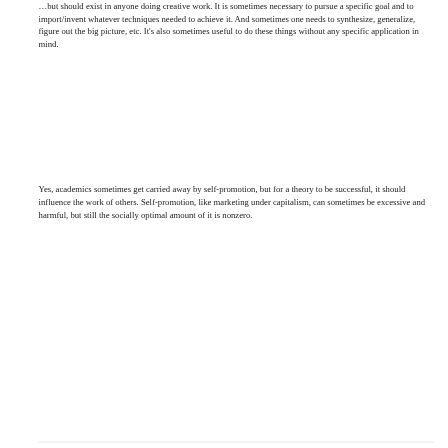…but should exist in anyone doing creative work. It is sometimes necessary to pursue a specific goal and to import/invent whatever techniques needed to achieve it. And sometimes one needs to synthesize, generalize, figure out the big picture, etc. It's also sometimes useful to do these things without any specific application in mind.
Yes, academics sometimes get carried away by self-promotion, but for a theory to be successful, it should influence the work of others. Self-promotion, like marketing under capitalism, can sometimes be excessive and harmful, but still the socially optimal amount of it is nonzero.
REPLY
Daniel Lemire